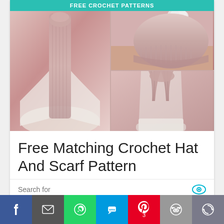[Figure (photo): Collage of pink/mauve crochet hat and scarf set with teal banner reading FREE CROCHET PATTERNS at top]
Free Matching Crochet Hat And Scarf Pattern
Search for
1.  HATS FOR TODDLERS
[Figure (infographic): Social sharing bar with Facebook, email, WhatsApp, SMS, Pinterest (3), Reddit, and more buttons]